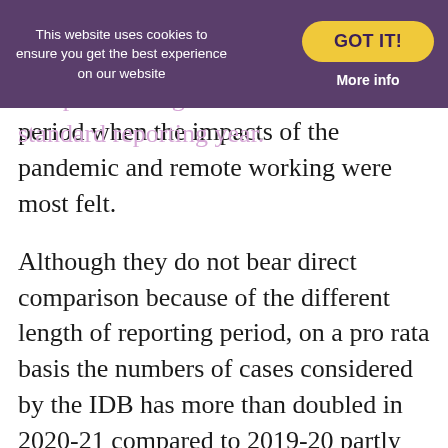(when the IDB was established) to 31 March 2020 to allow a direct comparison align with the BSB's standard reporting year. The report covers the period when the impacts of the pandemic and remote working were most felt.
Although they do not bear direct comparison because of the different length of reporting period, on a pro rata basis the numbers of cases considered by the IDB has more than doubled in 2020-21 compared to 2019-20 partly due to an increase in overall caseload and partly due to more regular scheduling of panel meetings.
Key facts from the report include:
in 2020-21, 73 enforcement cases and 32